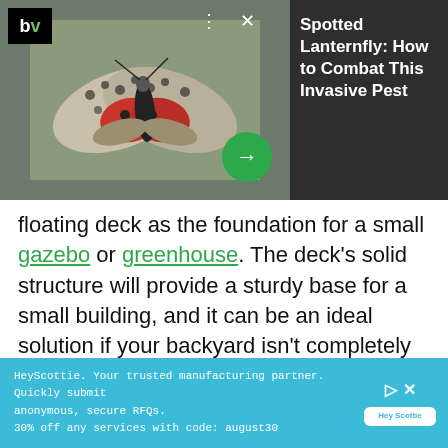[Figure (screenshot): Advertisement card showing a spotted lanternfly photo with BV logo, menu dots, close X button, green arrow button, and text 'Spotted Lanternfly: How to Combat This Invasive Pest' on dark background]
floating deck as the foundation for a small gazebo or greenhouse. The deck’s solid structure will provide a sturdy base for a small building, and it can be an ideal solution if your backyard isn’t completely level.
ADVERTISEMENT
[Figure (screenshot): Bottom banner advertisement for HeyScottie: 'Your trusted manufacturing partner. Quickly submit anonymous, secure RFQs. 30% off any services with code: august30' with HeyScottie logo on teal/blue background]